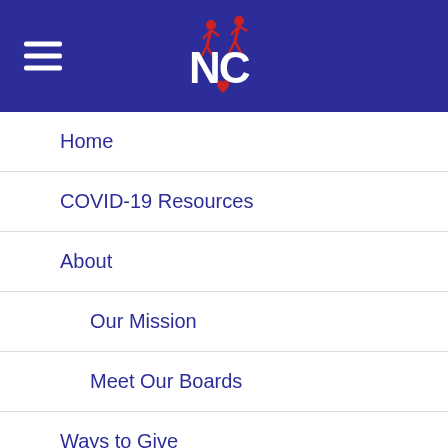[Figure (logo): NC organization logo with white NC letters and red figure icons on dark blue header background, with hamburger menu icon on the left]
Home
COVID-19 Resources
About
Our Mission
Meet Our Boards
Ways to Give
Services
Child Care & Family Services